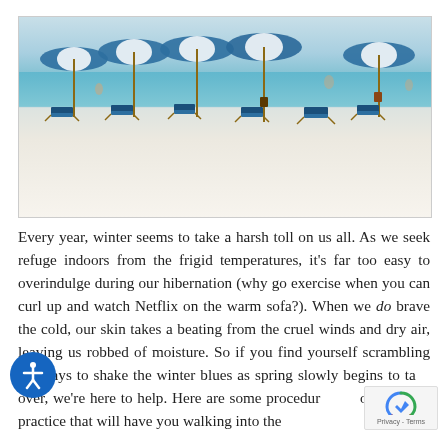[Figure (photo): Beach scene with blue and white striped umbrellas and lounge chairs on white sand, turquoise ocean in background]
Every year, winter seems to take a harsh toll on us all. As we seek refuge indoors from the frigid temperatures, it's far too easy to overindulge during our hibernation (why go exercise when you can curl up and watch Netflix on the warm sofa?). When we do brave the cold, our skin takes a beating from the cruel winds and dry air, leaving us robbed of moisture. So if you find yourself scrambling for ways to shake the winter blues as spring slowly begins to take over, we're here to help. Here are some procedures we offer at our practice that will have you walking into the